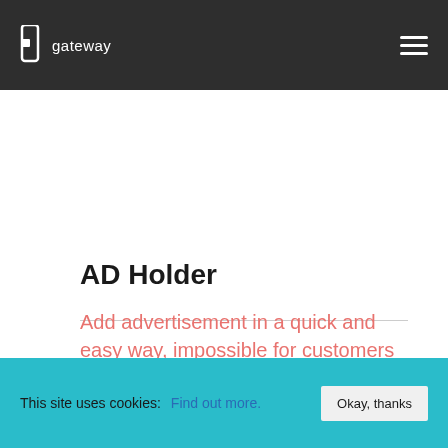gateway
AD Holder
Add advertisement in a quick and easy way, impossible for customers to miss.
Available for
This site uses cookies: Find out more. Okay, thanks